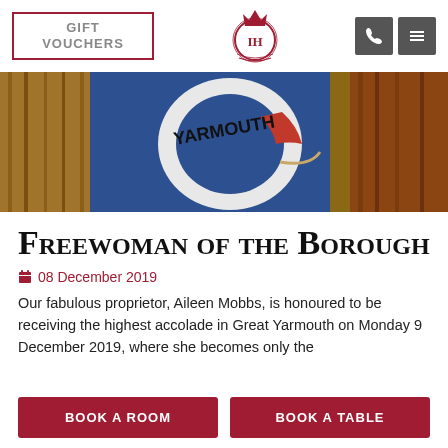GIFT VOUCHERS
[Figure (logo): Hotel crest logo with IH initials and crown]
[Figure (photo): Person in blue uniform holding a white life preserver ring labeled YARMOUTH, with a red section visible]
Freewoman of the Borough
08 December 2019
Our fabulous proprietor, Aileen Mobbs, is honoured to be receiving the highest accolade in Great Yarmouth on Monday 9 December 2019, where she becomes only the...
BOOK A ROOM
BOOK A TABLE